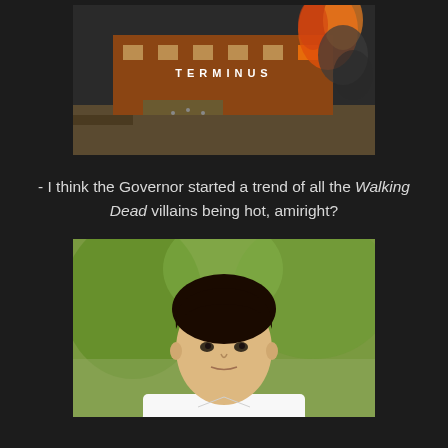[Figure (photo): Aerial view of a burning building complex, appears to be a TV show scene (The Walking Dead - Terminus), with fire and smoke visible on the right side of the building]
- I think the Governor started a trend of all the Walking Dead villains being hot, amiright?
[Figure (photo): Portrait photo of a young dark-haired man in a white v-neck shirt, photographed outdoors with green foliage in the background]